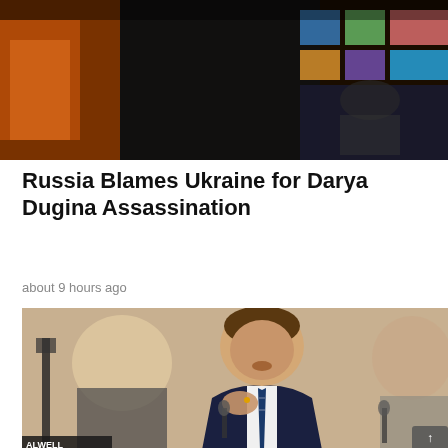[Figure (photo): Top portion of a news article image, showing a dark scene with blurred colorful background elements, appears to be a television or event backdrop.]
Russia Blames Ukraine for Darya Dugina Assassination
about 9 hours ago
[Figure (photo): Photo of a man in a dark suit with a blue striped tie speaking or testifying, gesturing with his hands. Other people are visible in the background, blurred. A nameplate reading 'ALWELL' is visible at the bottom left.]